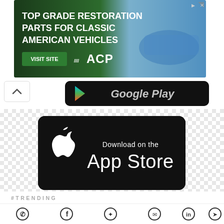[Figure (screenshot): Advertisement banner: TOP GRADE RESTORATION PARTS FOR CLASSIC AMERICAN VEHICLES with VISIT SITE button and ACP logo, showing a classic blue Ford Mustang]
[Figure (screenshot): Google Play store download button, dark background, partially visible with italic text]
[Figure (screenshot): Apple App Store Download on the App Store button, black rounded rectangle with Apple logo and text]
#TRENDING
[Figure (photo): Zerodha building logo thumbnail, circular crop, teal/blue building with ZERODHA text]
Zerodha has now 1 crore+ customer base, announces CEO Nithin Kamath
[Figure (screenshot): Social sharing bar with icons: WhatsApp, Facebook, Twitter, Email, LinkedIn, Telegram]